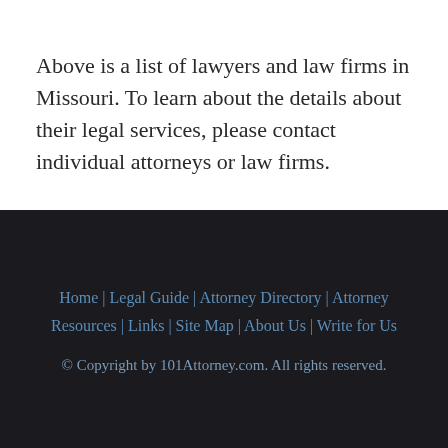Above is a list of lawyers and law firms in Missouri. To learn about the details about their legal services, please contact individual attorneys or law firms.
Home | Legal Guide | Attorney Directory | Attorney Resources | Links | Site Map | About Us | Write for Us
© Copyright by 101Attorney.com. All rights reserved.